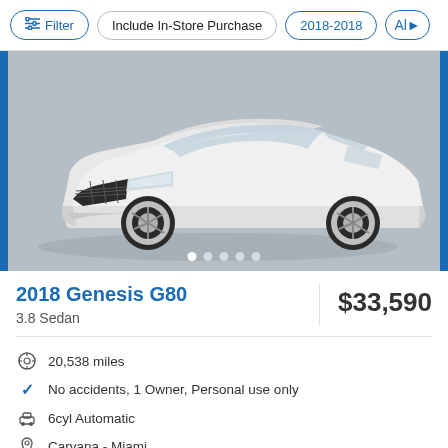Filter | Include In-Store Purchase | 2018-2018 | All
[Figure (photo): Front three-quarter view of a white 2018 Genesis G80 3.8 Sedan on a grey studio background, with blue borders on left and right sides and carousel dots at bottom.]
2018 Genesis G80
$33,590
3.8 Sedan
20,538 miles
No accidents, 1 Owner, Personal use only
6cyl Automatic
Carvana - Miami
Delivery available*